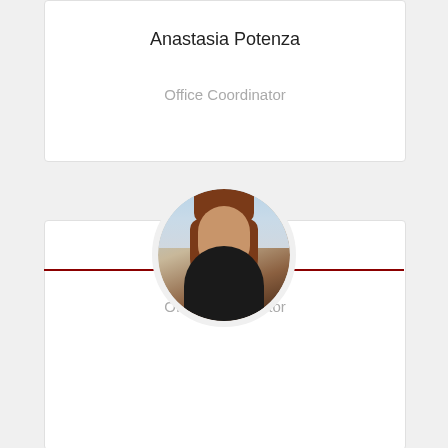Anastasia Potenza
Office Coordinator
[Figure (photo): Circular profile photo of Jamie Reinhold, a young woman with long auburn hair, smiling, with an indoor arena/stadium in the background]
Jamie Reinhold
Office Coordinator